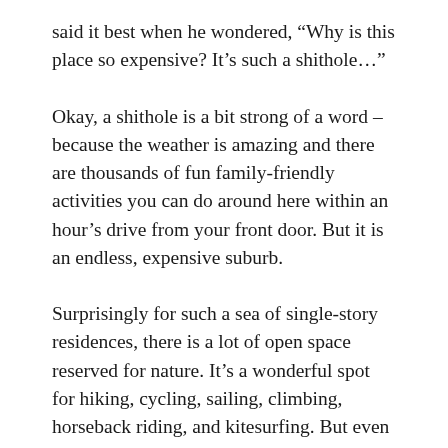said it best when he wondered, “Why is this place so expensive? It’s such a shithole…”
Okay, a shithole is a bit strong of a word – because the weather is amazing and there are thousands of fun family-friendly activities you can do around here within an hour’s drive from your front door. But it is an endless, expensive suburb.
Surprisingly for such a sea of single-story residences, there is a lot of open space reserved for nature. It’s a wonderful spot for hiking, cycling, sailing, climbing, horseback riding, and kitesurfing. But even more surprisingly, natural environments here are not very child-friendly